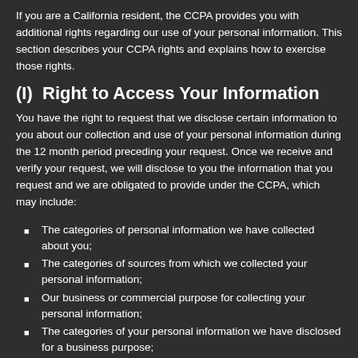If you are a California resident, the CCPA provides you with additional rights regarding our use of your personal information. This section describes your CCPA rights and explains how to exercise those rights.
(I)  Right to Access Your Information
You have the right to request that we disclose certain information to you about our collection and use of your personal information during the 12 month period preceding your request. Once we receive and verify your request, we will disclose to you the information that you request and we are obligated to provide under the CCPA, which may include:
The categories of personal information we have collected about you;
The categories of sources from which we collected your personal information;
Our business or commercial purpose for collecting your personal information;
The categories of your personal information we have disclosed for a business purpose;
The categories of third parties with whom we share your personal information;